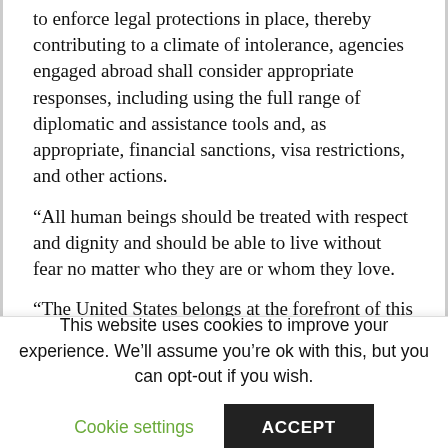to enforce legal protections in place, thereby contributing to a climate of intolerance, agencies engaged abroad shall consider appropriate responses, including using the full range of diplomatic and assistance tools and, as appropriate, financial sanctions, visa restrictions, and other actions.
“All human beings should be treated with respect and dignity and should be able to live without fear no matter who they are or whom they love.
“The United States belongs at the forefront of this struggle – speaking out and standing strong for our most dearly held values.”
The memo directs US agencies working in foreign countries to work harder to combat the criminalisation
This website uses cookies to improve your experience. We’ll assume you’re ok with this, but you can opt-out if you wish.